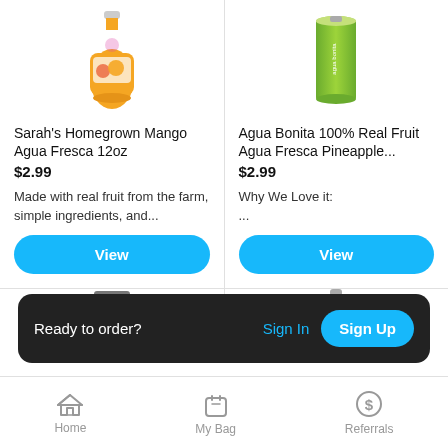[Figure (photo): Orange juice bottle - Sarah's Homegrown Mango Agua Fresca]
[Figure (photo): Green can - Agua Bonita 100% Real Fruit Agua Fresca Pineapple]
Sarah's Homegrown Mango Agua Fresca 12oz
$2.99
Made with real fruit from the farm, simple ingredients, and...
View
Agua Bonita 100% Real Fruit Agua Fresca Pineapple...
$2.99
Why We Love it:
...
View
[Figure (photo): Partial image of red jam jar on left]
[Figure (photo): Partial image of red sauce bottle on right]
Ready to order?
Sign In
Sign Up
Home
My Bag
Referrals